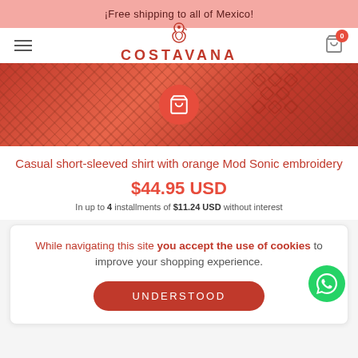¡Free shipping to all of Mexico!
[Figure (logo): Costavana brand logo with seahorse icon and tagline 'THE SUN IS OUT']
[Figure (photo): Close-up photo of orange/red fabric with diamond pattern Mod Sonic embroidery, with a circular shopping bag icon overlay]
Casual short-sleeved shirt with orange Mod Sonic embroidery
$44.95 USD
In up to 4 installments of $11.24 USD without interest
While navigating this site you accept the use of cookies to improve your shopping experience.